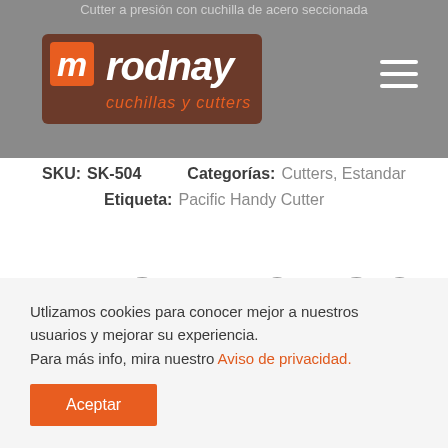Cutter a presión con cuchilla de acero seccionada
[Figure (logo): Rodnay cuchillas y cutters logo — brown background with orange 'm' icon and white italic text 'rodnay', subtitle 'cuchillas y cutters']
SKU: SK-504    Categorías:  Cutters, Estandar
Etiqueta:  Pacific Handy Cutter
PRODUCTOS RELACIONADOS
Utlizamos cookies para conocer mejor a nuestros usuarios y mejorar su experiencia.
Para más info, mira nuestro Aviso de privacidad.
Aceptar